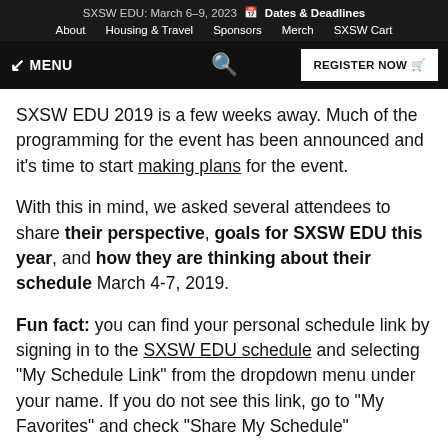SXSW EDU: March 6–9, 2023 📅 Dates & Deadlines
About   Housing & Travel   Sponsors   Merch   SXSW Cart
↙ MENU   🔍   REGISTER NOW 🛒
SXSW EDU 2019 is a few weeks away. Much of the programming for the event has been announced and it's time to start making plans for the event.
With this in mind, we asked several attendees to share their perspective, goals for SXSW EDU this year, and how they are thinking about their schedule March 4-7, 2019.
Fun fact: you can find your personal schedule link by signing in to the SXSW EDU schedule and selecting "My Schedule Link" from the dropdown menu under your name. If you do not see this link, go to "My Favorites" and check "Share My Schedule"